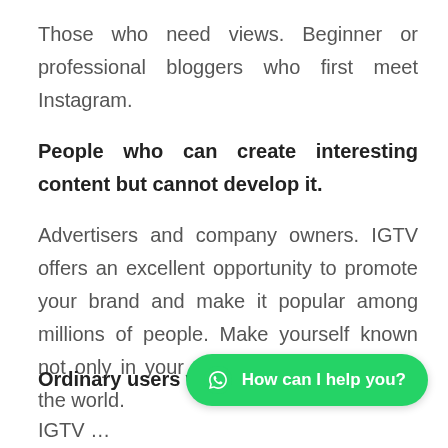Those who need views. Beginner or professional bloggers who first meet Instagram.
People who can create interesting content but cannot develop it.
Advertisers and company owners. IGTV offers an excellent opportunity to promote your brand and make it popular among millions of people. Make yourself known not only in your own country but all over the world.
Ordinary users who do
[Figure (other): WhatsApp chat button overlay with green background reading 'How can I help you?']
IGTV …